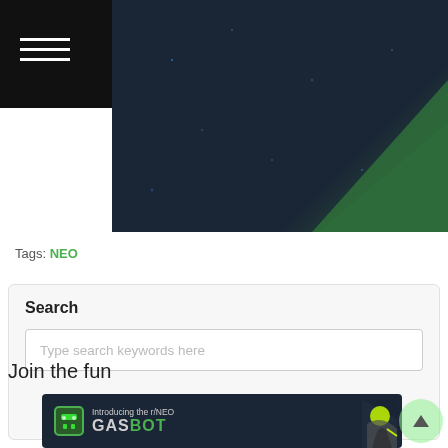[Figure (screenshot): Website header with hamburger menu icon on black background on the left, and a dark hero image with green diagonal element on the right]
Tags: NEO
Search
Type search keywords here
Join the fun
[Figure (screenshot): GASBOT banner with dark background showing 'Introducing the r/NEO GASBOT' text with green robot icon and 3D robotic figure on the right]